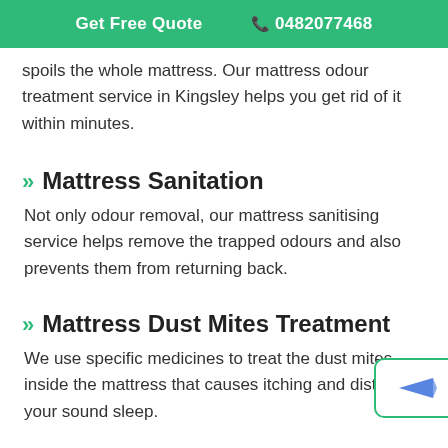Get Free Quote  📞 0482077468
spoils the whole mattress. Our mattress odour treatment service in Kingsley helps you get rid of it within minutes.
Mattress Sanitation
Not only odour removal, our mattress sanitising service helps remove the trapped odours and also prevents them from returning back.
Mattress Dust Mites Treatment
We use specific medicines to treat the dust mites inside the mattress that causes itching and disturb your sound sleep.